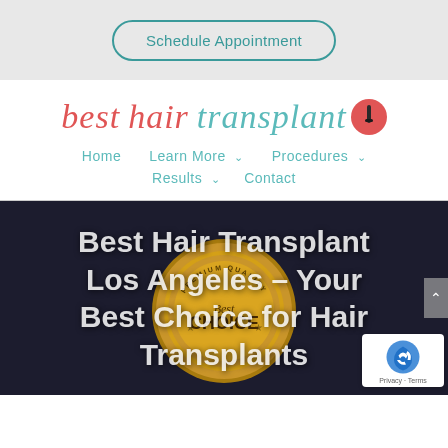Schedule Appointment
[Figure (logo): Best Hair Transplant logo with red italic text and teal transplant text, red circular icon with hair follicle]
Home  Learn More  Procedures  Results  Contact
[Figure (photo): Dark background hero image with a gold premium quality best choice seal/badge stamp. White bold text overlay reads: Best Hair Transplant Los Angeles – Your Best Choice for Hair Transplants. A reCAPTCHA badge is in the bottom right.]